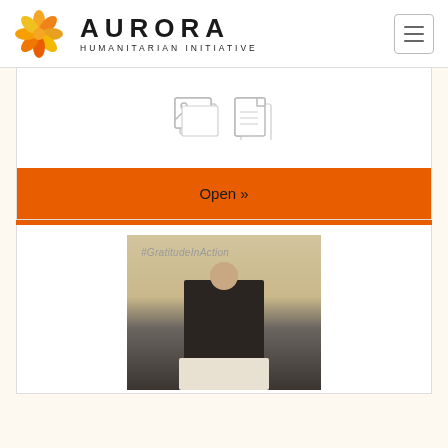AURORA HUMANITARIAN INITIATIVE
[Figure (screenshot): Card with image placeholder icon and document placeholder icon]
Open »
[Figure (photo): Man in dark suit speaking at podium, background text #GratitudeInAction at Aurora Humanitarian Initiative event]